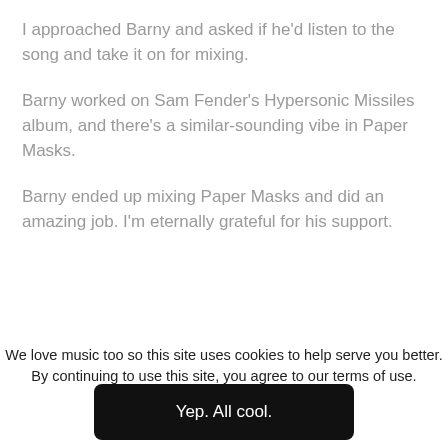I approached Barny and asked if he'd listen to the song and take it on for mixing.
Barny worked on Sam Fender's Hypersonic Missiles album, and there's a similar-sounding vibe in Paper Masks.
Barny ended up mixing Paper Masks and did an amazing job. I'm eternally grateful for his support.
We love music too so this site uses cookies to help serve you better. By continuing to use this site, you agree to our terms of use.
Yep. All cool.